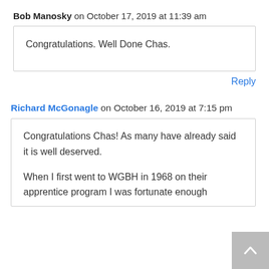Bob Manosky on October 17, 2019 at 11:39 am
Congratulations. Well Done Chas.
Reply
Richard McGonagle on October 16, 2019 at 7:15 pm
Congratulations Chas! As many have already said it is well deserved.

When I first went to WGBH in 1968 on their apprentice program I was fortunate enough